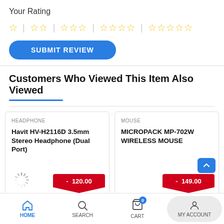Your Rating
[Figure (other): Star rating selector with 1, 2, 3, 4, and 5 empty gold star options separated by vertical bars]
SUBMIT REVIEW
Customers Who Viewed This Item Also Viewed
HEADPHONE
Havit HV-H2116D 3.5mm Stereo Headphone (Dual Port)
- 120.00
MOUSE
MICROPACK MP-702W WIRELESS MOUSE
- 149.00
HOME  SEARCH  CART  MY ACCOUNT